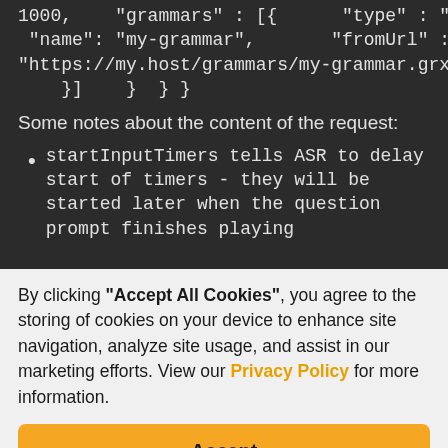1000, "grammars": [{ "type": "GRXML", "name": "my-grammar", "fromUrl": { "url": "https://my.host/grammars/my-grammar.grxml" } ]} } }}
Some notes about the content of the request:
startInputTimers tells ASR to delay start of timers - they will be started later when the question prompt finishes playing
By clicking "Accept All Cookies", you agree to the storing of cookies on your device to enhance site navigation, analyze site usage, and assist in our marketing efforts. View our Privacy Policy for more information.
Accept
Deny